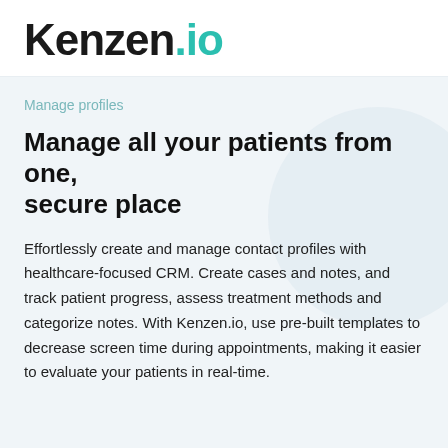Kenzen.io
Manage profiles
Manage all your patients from one, secure place
Effortlessly create and manage contact profiles with healthcare-focused CRM. Create cases and notes, and track patient progress, assess treatment methods and categorize notes. With Kenzen.io, use pre-built templates to decrease screen time during appointments, making it easier to evaluate your patients in real-time.